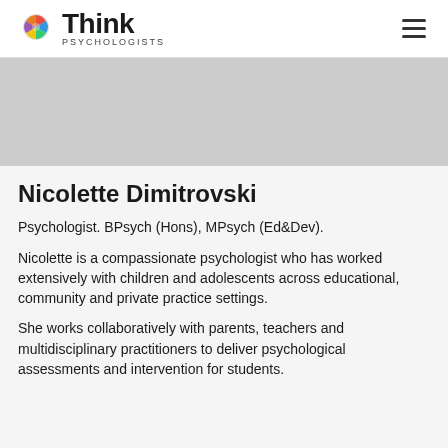Think Psychologists
[Figure (illustration): Grey placeholder hero image banner]
Nicolette Dimitrovski
Psychologist. BPsych (Hons), MPsych (Ed&Dev).
Nicolette is a compassionate psychologist who has worked extensively with children and adolescents across educational, community and private practice settings.
She works collaboratively with parents, teachers and multidisciplinary practitioners to deliver psychological assessments and intervention for students.